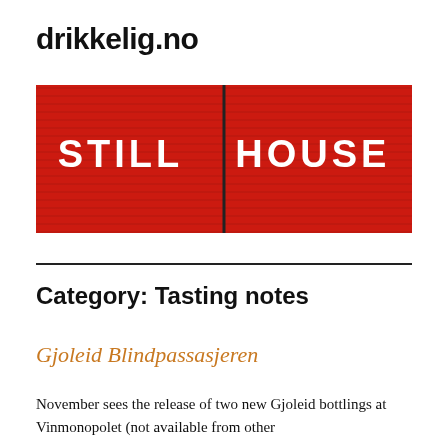drikkelig.no
[Figure (photo): Red painted wooden panels with white stencilled text reading STILL HOUSE, split by a dark vertical seam]
Category: Tasting notes
Gjoleid Blindpassasjeren
November sees the release of two new Gjoleid bottlings at Vinmonopolet (not available from other